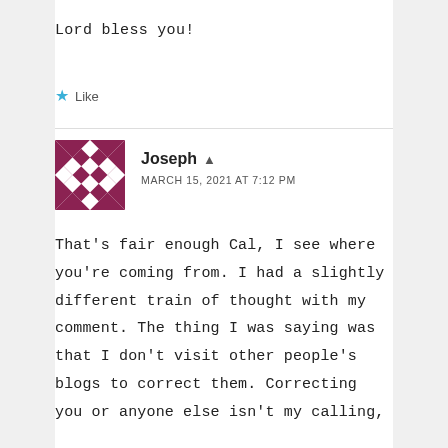Lord bless you!
★ Like
Joseph  ▲
MARCH 15, 2021 AT 7:12 PM
That's fair enough Cal, I see where you're coming from. I had a slightly different train of thought with my comment. The thing I was saying was that I don't visit other people's blogs to correct them. Correcting you or anyone else isn't my calling,